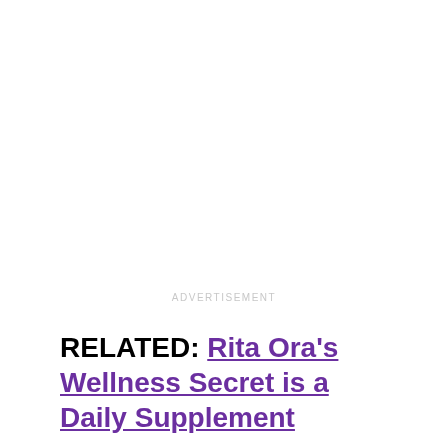ADVERTISEMENT
RELATED: Rita Ora's Wellness Secret is a Daily Supplement
ADVERTISEMENT